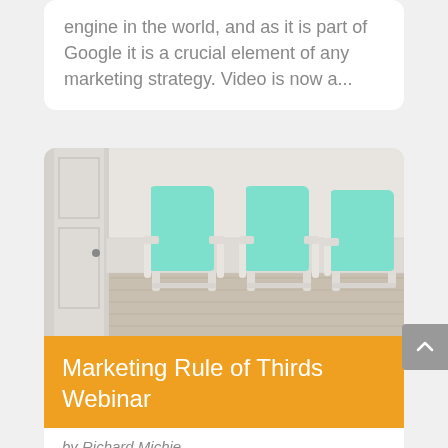engine in the world, and as it is part of Google it is a crucial element of any marketing strategy. Video is now a...
[Figure (photo): Three teal/mint colored lounge chairs with white frames lined up against a white wall on a light wood floor]
Marketing Rule of Thirds Webinar
by Richard Michie